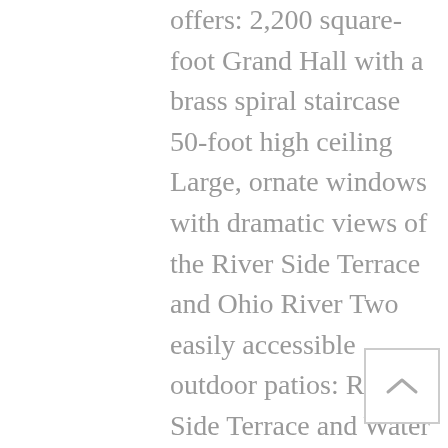offers: 2,200 square-foot Grand Hall with a brass spiral staircase 50-foot high ceiling Large, ornate windows with dramatic views of the River Side Terrace and Ohio River Two easily accessible outdoor patios: River Side Terrace and Water Tower Plaza Spacious River Side Lawn for tented receptions and parties Michaelis Events for food, beverage and rentals Warming kitchen First floor restrooms Free access to the WaterWorks museum, located in the West Wing Complimentary AV Venue Capacity and Rental Information Our versatile space can accommodate parties of 350 or more people when using the outdoor River Side Lawn. Learn more about rental rates and what's included in venue rental, including seating capacity and location options. Catering and Rental